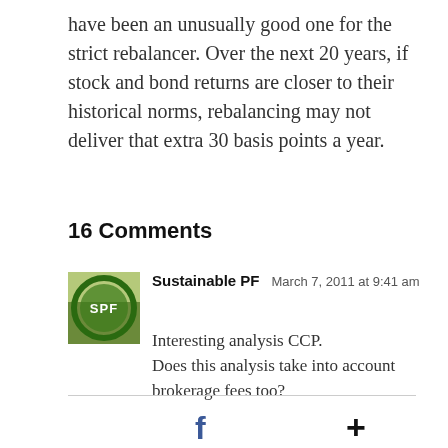have been an unusually good one for the strict rebalancer. Over the next 20 years, if stock and bond returns are closer to their historical norms, rebalancing may not deliver that extra 30 basis points a year.
16 Comments
[Figure (photo): Avatar image for Sustainable PF commenter — circular green logo with 'SPF' text on a nature background]
Sustainable PF  March 7, 2011 at 9:41 am
Interesting analysis CCP.
Does this analysis take into account brokerage fees too?